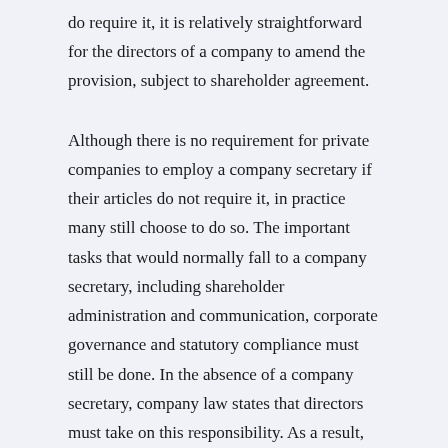do require it, it is relatively straightforward for the directors of a company to amend the provision, subject to shareholder agreement.
Although there is no requirement for private companies to employ a company secretary if their articles do not require it, in practice many still choose to do so. The important tasks that would normally fall to a company secretary, including shareholder administration and communication, corporate governance and statutory compliance must still be done. In the absence of a company secretary, company law states that directors must take on this responsibility. As a result, many private companies continue to employ a company secretary in order to reduce the administrative and corporate governance burdens that are otherwise placed on their directors.